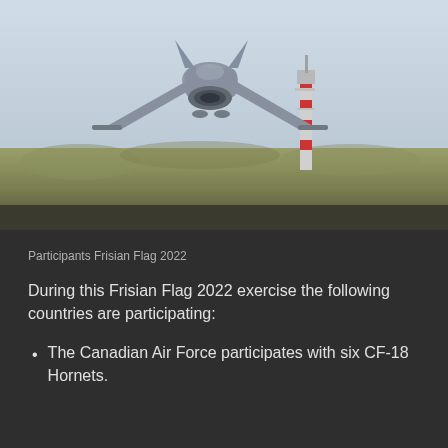[Figure (photo): A military fighter jet (CF-18 Hornet style aircraft) taking off or at low altitude, viewed from behind/below, with a red and white communications tower visible in the background and dried grass/field in the mid-ground against a pale sky.]
Participants Frisian Flag 2022
During this Frisian Flag 2022 exercise the following countries are participating:
The Canadian Air Force participates with six CF-18 Hornets.